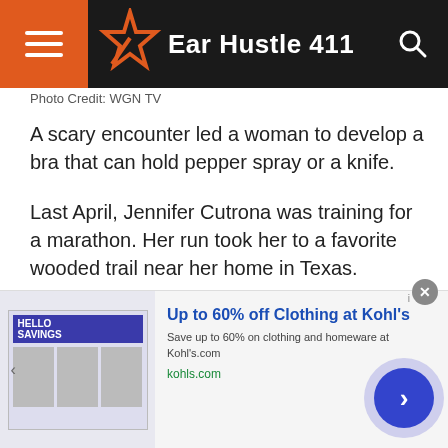Ear Hustle 411
Photo Credit: WGN TV
A scary encounter led a woman to develop a bra that can hold pepper spray or a knife.
Last April, Jennifer Cutrona was training for a marathon. Her run took her to a favorite wooded trail near her home in Texas.
Her earbuds were in, and she was caught off guard when a man lurking in the woods jumped out to grab her.
She told WTVB all she could think of was getting away and...
[Figure (screenshot): Advertisement banner: Up to 60% off Clothing at Kohl's. Save up to 60% on clothing and homeware at Kohls.com. kohls.com]